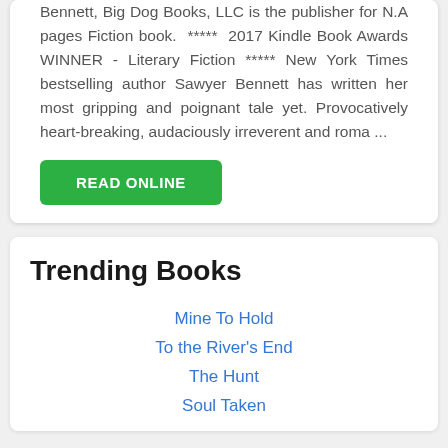Bennett, Big Dog Books, LLC is the publisher for N.A pages Fiction book. ***** 2017 Kindle Book Awards WINNER - Literary Fiction ***** New York Times bestselling author Sawyer Bennett has written her most gripping and poignant tale yet. Provocatively heart-breaking, audaciously irreverent and roma ...
[Figure (other): Green READ ONLINE button]
Trending Books
Mine To Hold
To the River's End
The Hunt
Soul Taken